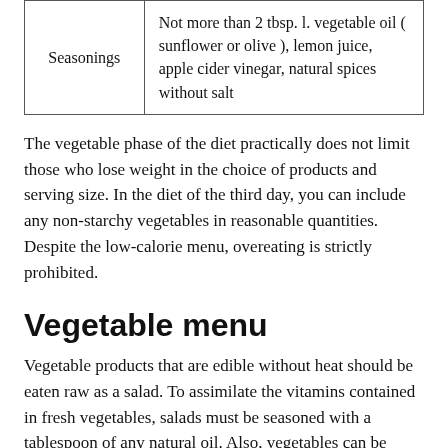| Seasonings | Not more than 2 tbsp. l. vegetable oil ( sunflower or olive ), lemon juice, apple cider vinegar, natural spices without salt |
The vegetable phase of the diet practically does not limit those who lose weight in the choice of products and serving size. In the diet of the third day, you can include any non-starchy vegetables in reasonable quantities. Despite the low-calorie menu, overeating is strictly prohibited.
Vegetable menu
Vegetable products that are edible without heat should be eaten raw as a salad. To assimilate the vitamins contained in fresh vegetables, salads must be seasoned with a tablespoon of any natural oil. Also, vegetables can be boiled, stewed or baked in